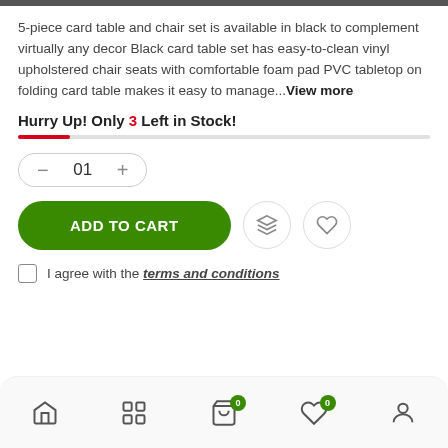5-piece card table and chair set is available in black to complement virtually any decor Black card table set has easy-to-clean vinyl upholstered chair seats with comfortable foam pad PVC tabletop on folding card table makes it easy to manage…View more
Hurry Up! Only 3 Left in Stock!
[Figure (other): Quantity selector showing 01 with minus and plus buttons in rounded rectangle border]
[Figure (other): ADD TO CART green button, layers icon button, heart icon button]
I agree with the terms and conditions
[Figure (other): Bottom navigation bar with home, grid, cart (badge 0), heart (badge 0), and profile icons]